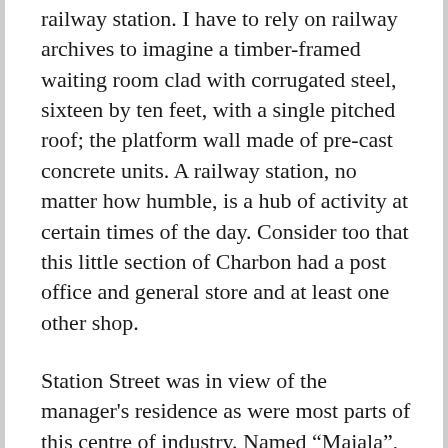railway station. I have to rely on railway archives to imagine a timber-framed waiting room clad with corrugated steel, sixteen by ten feet, with a single pitched roof; the platform wall made of pre-cast concrete units. A railway station, no matter how humble, is a hub of activity at certain times of the day. Consider too that this little section of Charbon had a post office and general store and at least one other shop.
Station Street was in view of the manager's residence as were most parts of this centre of industry. Named “Maiala”, it was set in lush gardens (two gardeners at one time) and approached by an imposing avenue of trees. Its longest and most memorable occupants were Christopher and Lee Saville, the two people